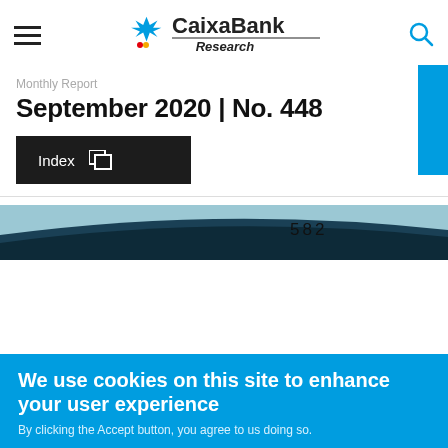CaixaBank Research
Monthly Report
September 2020 | No. 448
Index
[Figure (photo): Partial view of a vehicle or train with the number 582 visible]
We use cookies on this site to enhance your user experience
By clicking the Accept button, you agree to us doing so.